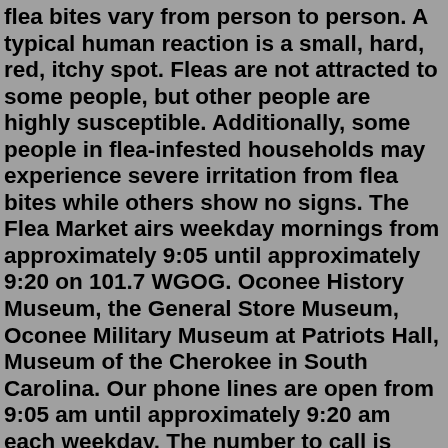flea bites vary from person to person. A typical human reaction is a small, hard, red, itchy spot. Fleas are not attracted to some people, but other people are highly susceptible. Additionally, some people in flea-infested households may experience severe irritation from flea bites while others show no signs. The Flea Market airs weekday mornings from approximately 9:05 until approximately 9:20 on 101.7 WGOG. Oconee History Museum, the General Store Museum, Oconee Military Museum at Patriots Hall, Museum of the Cherokee in South Carolina. Our phone lines are open from 9:05 am until approximately 9:20 am each weekday. The number to call is 864-638-6810.Fleabag Season 1 Review. All six episodes were provided prior to broadcast. Fleabag has a familiar premise. Sexually liberated, free-drinking, recklessly uninhibited 30-something Fleabag (Phoebe ...The red-headed flea beetle is about 1/6 inch long and dark black with a reddish head and readily hops around. It feeds on over 40 different host plants including cabbage, beans, beets, corn, alfalfa, potatoes, nursery crops...